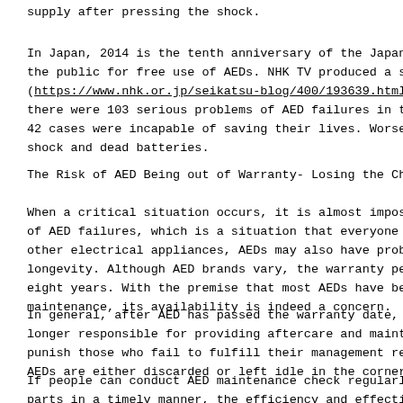supply after pressing the shock.
In Japan, 2014 is the tenth anniversary of the Japanese the public for free use of AEDs. NHK TV produced a spe (https://www.nhk.or.jp/seikatsu-blog/400/193639.html#m there were 103 serious problems of AED failures in the 42 cases were incapable of saving their lives. Worse o shock and dead batteries.
The Risk of AED Being out of Warranty- Losing the Char
When a critical situation occurs, it is almost impossi of AED failures, which is a situation that everyone is other electrical appliances, AEDs may also have proble longevity. Although AED brands vary, the warranty peri eight years. With the premise that most AEDs have been maintenance, its availability is indeed a concern.
In general, after AED has passed the warranty date, th longer responsible for providing aftercare and mainter punish those who fail to fulfill their management resp AEDs are either discarded or left idle in the corner,
If people can conduct AED maintenance check regularly, parts in a timely manner, the efficiency and effective